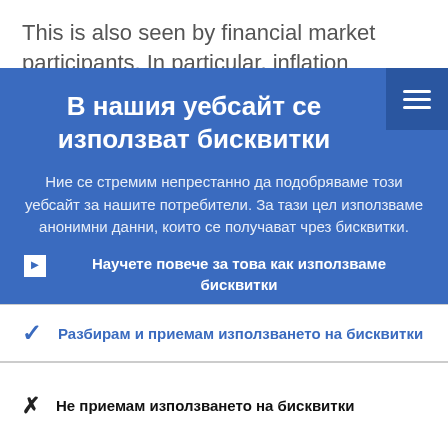This is also seen by financial market participants. In particular, inflation
В нашия уебсайт се използват бисквитки
Ние се стремим непрестанно да подобряваме този уебсайт за нашите потребители. За тази цел използваме анонимни данни, които се получават чрез бисквитки.
Научете повече за това как използваме бисквитки
Разбирам и приемам използването на бисквитки
Не приемам използването на бисквитки